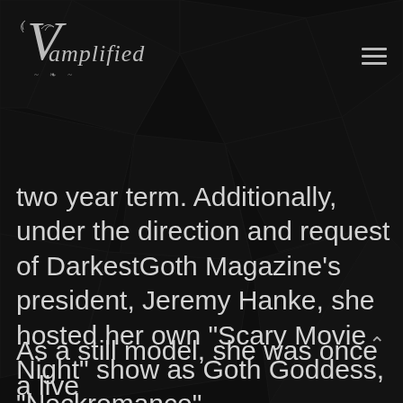Vamplified
two year term. Additionally, under the direction and request of DarkestGoth Magazine's president, Jeremy Hanke, she hosted her own "Scary Movie Night" show as Goth Goddess, "Neckromance".
As a still model, she was once a live